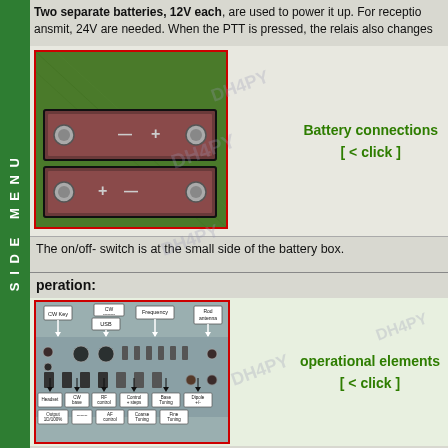Two separate batteries, 12V each, are used to power it up. For receptio ansmit, 24V are needed. When the PTT is pressed, the relais also changes
[Figure (photo): Photo of two 12V batteries (reddish-purple rectangular batteries) placed on grass, inside a red-bordered frame]
Battery connections [ < click ]
The on/off- switch is at the small side of the battery box.
peration:
[Figure (photo): Photo of a radio transceiver control panel with labeled connectors and controls including CW Key, CW USB, Frequency, Rod antenna, Headset, CW base, RF control, Control + steps, Base Tuning, Dipole +/-, Output 1D/100%, AF control, Coarse Tuning, Fine Tuning]
operational elements [ < click ]